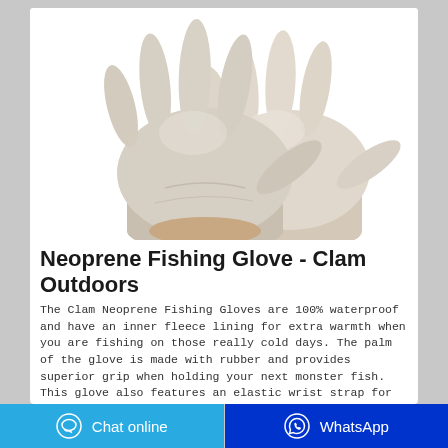[Figure (photo): Two white/light grey neoprene gloves worn on hands, overlapping each other, shown against a white background.]
Neoprene Fishing Glove - Clam Outdoors
The Clam Neoprene Fishing Gloves are 100% waterproof and have an inner fleece lining for extra warmth when you are fishing on those really cold days. The palm of the glove is made with rubber and provides superior grip when holding your next monster fish. This glove also features an elastic wrist strap for securing the glove onto your hand …
Chat online  WhatsApp